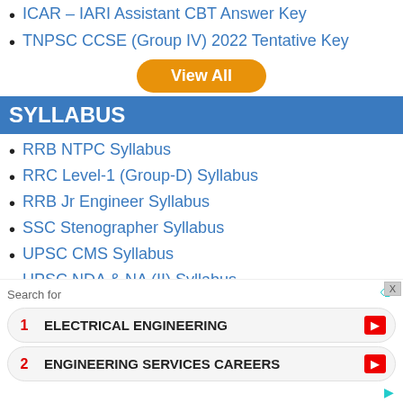ICAR – IARI Assistant CBT Answer Key
TNPSC CCSE (Group IV) 2022 Tentative Key
View All
SYLLABUS
RRB NTPC Syllabus
RRC Level-1 (Group-D) Syllabus
RRB Jr Engineer Syllabus
SSC Stenographer Syllabus
UPSC CMS Syllabus
UPSC NDA & NA (II) Syllabus
UPSC NDA & NA (I) Syllabus
[Figure (screenshot): Advertisement panel with Search for label, two ad rows: 1. ELECTRICAL ENGINEERING, 2. ENGINEERING SERVICES CAREERS]